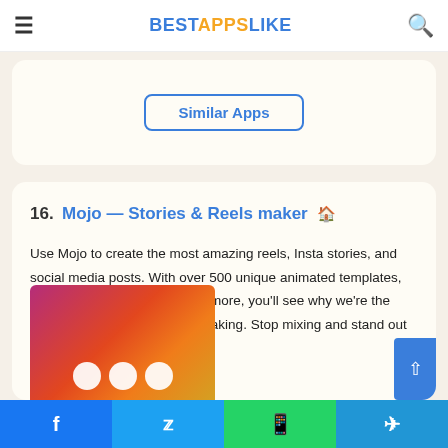BESTAPPSLIKE
[Figure (screenshot): Partial card showing a 'Similar Apps' button with blue border]
16. Mojo — Stories & Reels maker
Use Mojo to create the most amazing reels, Insta stories, and social media posts. With over 500 unique animated templates, original text styles, music and more, you'll see why we're the number one app for content making. Stop mixing and stand out for whatever the occasion
[Figure (screenshot): Gradient image with purple-to-orange gradient background and three white circular dots at bottom, representing the Mojo app screenshot]
Facebook | Twitter | WhatsApp | Telegram social share buttons